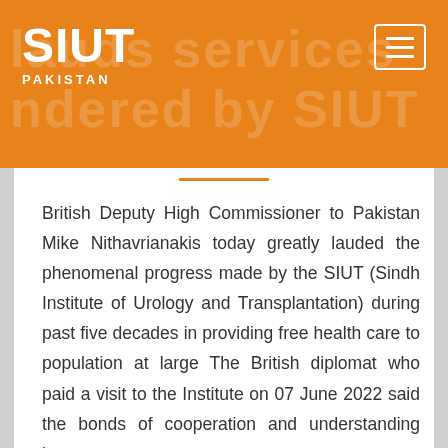SIUT PAKISTAN
British Deputy High Commissioner to Pakistan Mike Nithavrianakis today greatly lauded the phenomenal progress made by the SIUT (Sindh Institute of Urology and Transplantation) during past five decades in providing free health care to population at large The British diplomat who paid a visit to the Institute on 07 June 2022 said the bonds of cooperation and understanding between